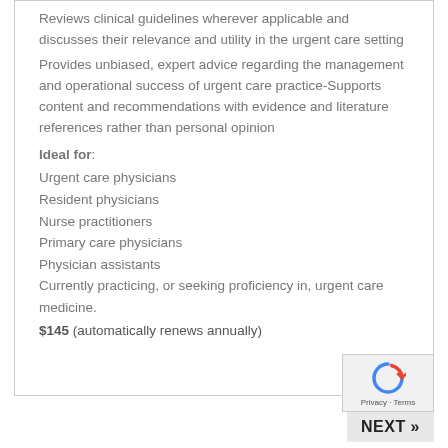Reviews clinical guidelines wherever applicable and discusses their relevance and utility in the urgent care setting
Provides unbiased, expert advice regarding the management and operational success of urgent care practice-Supports content and recommendations with evidence and literature references rather than personal opinion
Ideal for:
Urgent care physicians
Resident physicians
Nurse practitioners
Primary care physicians
Physician assistants
Currently practicing, or seeking proficiency in, urgent care medicine.
$145 (automatically renews annually)
NEXT »